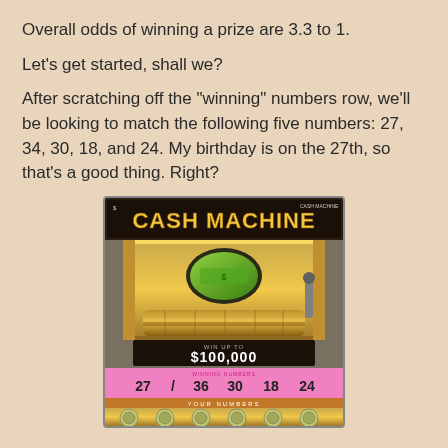Overall odds of winning a prize are 3.3 to 1.
Let's get started, shall we?
After scratching off the "winning" numbers row, we'll be looking to match the following five numbers: 27, 34, 30, 18, and 24. My birthday is on the 27th, so that's a good thing. Right?
[Figure (photo): Photo of a Cash Machine scratch lottery ticket showing 'WIN UP TO $100,000' with winning numbers 27, 36, 30, 18, 24 visible on a pink strip, and gold cash register imagery.]